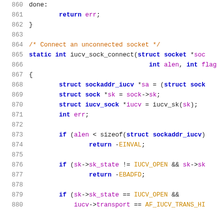Source code listing, lines 860-880, iucv_sock_connect function